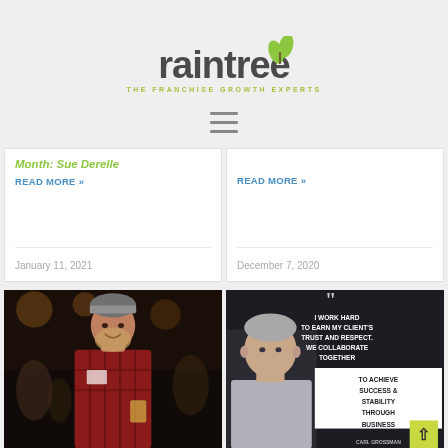[Figure (logo): Raintree logo with green leaves above the 'i', dark gray bold text 'raintree', tagline 'THE FRANCHISE GROWTH EXPERTS' in olive/chartreuse color]
[Figure (other): Hamburger menu icon (three horizontal lines)]
Month: Sue Derelle
READ MORE »
January 11, 2021
READ MORE »
December 7, 2020
[Figure (photo): Man with beard wearing red plaid flannel shirt and beanie hat, smiling, in a crowded bar/event venue]
[Figure (infographic): Dark background card with quote: 'I WORK HARD TO EARN MY CLIENT'S TRUST AND RESPECT. WE COLLABORATE TOGETHER TO ACHIEVE SUCCESS & STABILITY THROUGH BUSINESS OWNERSHIP.' attributed to Carl Grossman, Franchise Consultant, Business Alliance Inc. with photo of man in gray shirt]